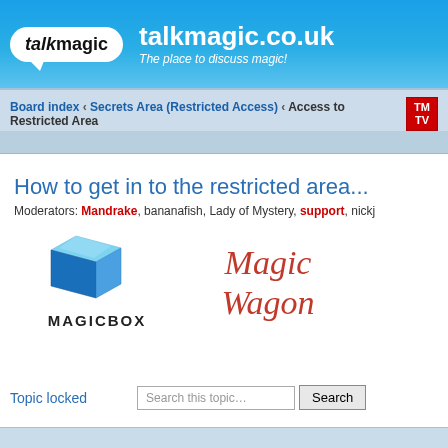talkmagic.co.uk — The place to discuss magic!
Board index › Secrets Area (Restricted Access) › Access to Restricted Area
How to get in to the restricted area...
Moderators: Mandrake, bananafish, Lady of Mystery, support, nickj
[Figure (logo): MagicBox logo with 3D blue cube and MAGICBOX text]
[Figure (logo): Magic Wagon logo in red cursive script]
Topic locked
Search this topic... Search